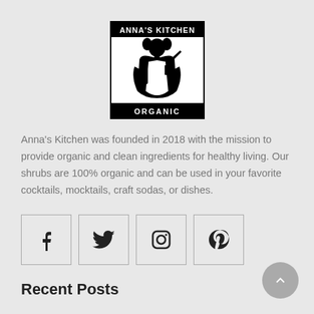[Figure (logo): Anna's Kitchen Organic logo — black and white illustration of a woman holding a bottle and knife, with text 'ANNA'S KITCHEN' at top and 'ORGANIC' at bottom]
Anna's Kitchen was founded in 2018 with the mission to provide organic and clean ingredients for healthy living. Our shrubs are 100% organic and can be used in your favorite cocktails, mocktails, craft sodas, or dishes.
[Figure (infographic): Four social media icon buttons in bordered squares: Facebook, Twitter, Instagram, Pinterest]
Recent Posts